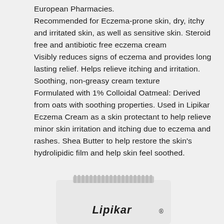European Pharmacies.
Recommended for Eczema-prone skin, dry, itchy and irritated skin, as well as sensitive skin. Steroid free and antibiotic free eczema cream
Visibly reduces signs of eczema and provides long lasting relief. Helps relieve itching and irritation. Soothing, non-greasy cream texture
Formulated with 1% Colloidal Oatmeal: Derived from oats with soothing properties. Used in Lipikar Eczema Cream as a skin protectant to help relieve minor skin irritation and itching due to eczema and rashes. Shea Butter to help restore the skin's hydrolipidic film and help skin feel soothed.
[Figure (photo): Bottom portion of a La Roche-Posay Lipikar Eczema cream tube, white with a ridged cap at the top, showing partial product name text 'Lipikar' in dark letters.]